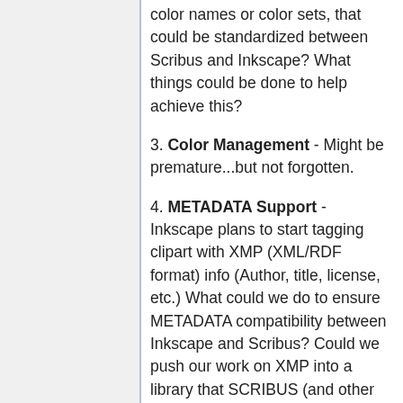color names or color sets, that could be standardized between Scribus and Inkscape? What things could be done to help achieve this?
3. Color Management - Might be premature...but not forgotten.
4. METADATA Support - Inkscape plans to start tagging clipart with XMP (XML/RDF format) info (Author, title, license, etc.) What could we do to ensure METADATA compatibility between Inkscape and Scribus? Could we push our work on XMP into a library that SCRIBUS (and other apps really) could use?
5. Improved Postscript Support - Inkscape's printing support is not as good as users would like. Does Scribus have PS expertise we could tap for